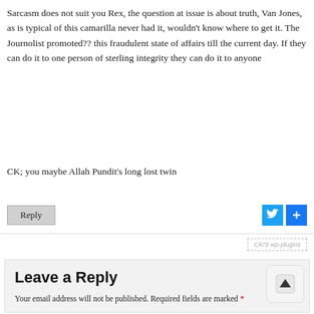Sarcasm does not suit you Rex, the question at issue is about truth, Van Jones, as is typical of this camarilla never had it, wouldn't know where to get it. The Journolist promoted?? this fraudulent state of affairs till the current day. If they can do it to one person of sterling integrity they can do it to anyone
CK; you maybe Allah Pundit's long lost twin
Reply
[Figure (other): Twitter share button (blue bird icon) and a blue plus/share button]
[Figure (other): CK/S wp-plugins badge with dashed border]
Leave a Reply
Your email address will not be published. Required fields are marked *
[Figure (other): Scroll to top button with up arrow icon]